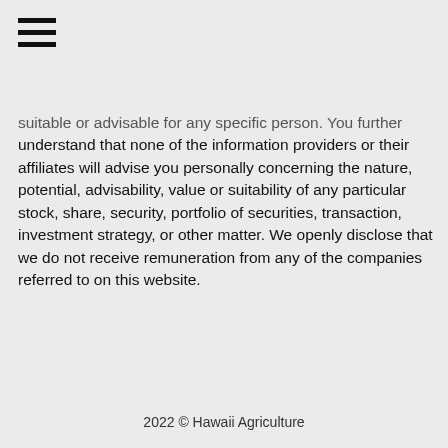☰
suitable or advisable for any specific person. You further understand that none of the information providers or their affiliates will advise you personally concerning the nature, potential, advisability, value or suitability of any particular stock, share, security, portfolio of securities, transaction, investment strategy, or other matter. We openly disclose that we do not receive remuneration from any of the companies referred to on this website.
2022 © Hawaii Agriculture